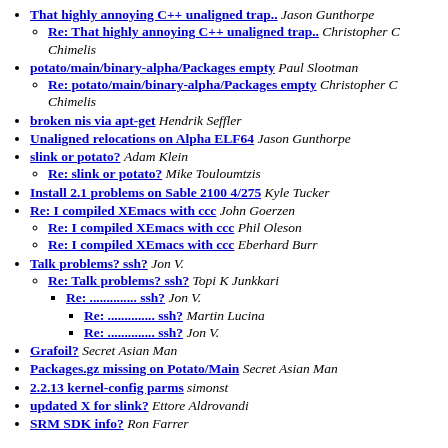That highly annoying C++ unaligned trap.. Jason Gunthorpe
Re: That highly annoying C++ unaligned trap.. Christopher C Chimelis
potato/main/binary-alpha/Packages empty Paul Slootman
Re: potato/main/binary-alpha/Packages empty Christopher C Chimelis
broken nis via apt-get Hendrik Seffler
Unaligned relocations on Alpha ELF64 Jason Gunthorpe
slink or potato? Adam Klein
Re: slink or potato? Mike Touloumtzis
Install 2.1 problems on Sable 2100 4/275 Kyle Tucker
Re: I compiled XEmacs with ccc John Goerzen
Re: I compiled XEmacs with ccc Phil Oleson
Re: I compiled XEmacs with ccc Eberhard Burr
Talk problems? ssh? Jon V.
Re: Talk problems? ssh? Topi K Junkkari
Re: .............. ssh? Jon V.
Re: .............. ssh? Martin Lucina
Re: .............. ssh? Jon V.
Grafoil? Secret Asian Man
Packages.gz missing on Potato/Main Secret Asian Man
2.2.13 kernel-config parms simonst
updated X for slink? Ettore Aldrovandi
SRM SDK info? Ron Farrer